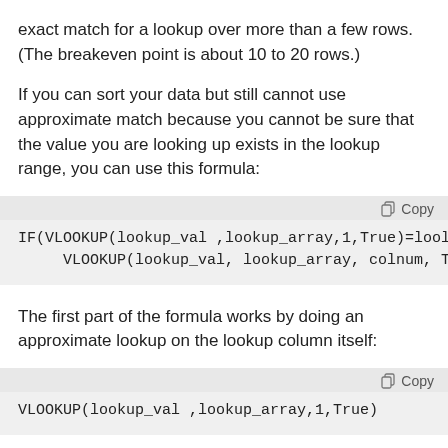exact match for a lookup over more than a few rows. (The breakeven point is about 10 to 20 rows.)
If you can sort your data but still cannot use approximate match because you cannot be sure that the value you are looking up exists in the lookup range, you can use this formula:
The first part of the formula works by doing an approximate lookup on the lookup column itself: